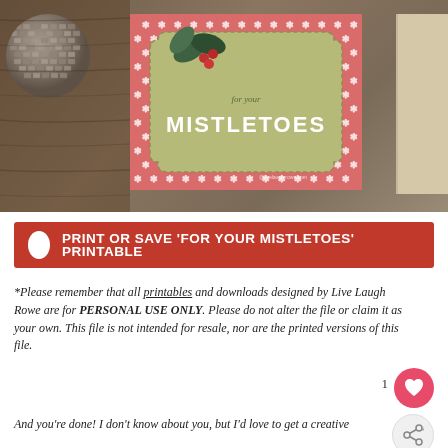[Figure (photo): Photo of a Christmas card reading 'for your MISTLETOES' with a holly decoration on a pink snowflake background, placed on a wooden surface next to a disco ball.]
PRINT OR SAVE 'FOR YOUR MISTLETOES' PRINTABLE
*Please remember that all printables and downloads designed by Live Laugh Rowe are for PERSONAL USE ONLY. Please do not alter the file or claim it as your own. This file is not intended for resale, nor are the printed versions of this file.
And you're done! I don't know about you, but I'd love to get a creative